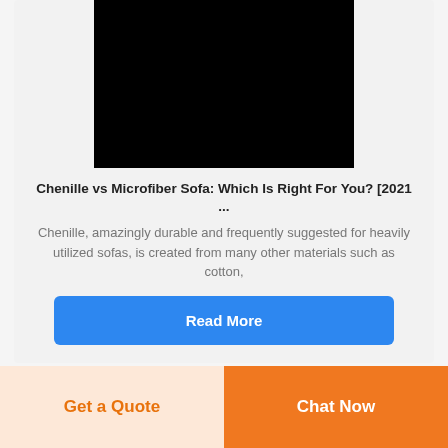[Figure (photo): Black rectangular image placeholder at the top of the card]
Chenille vs Microfiber Sofa: Which Is Right For You? [2021 ...
Chenille, amazingly durable and frequently suggested for heavily utilized sofas, is created from many other materials such as cotton,
Read More
Get a Quote
Chat Now